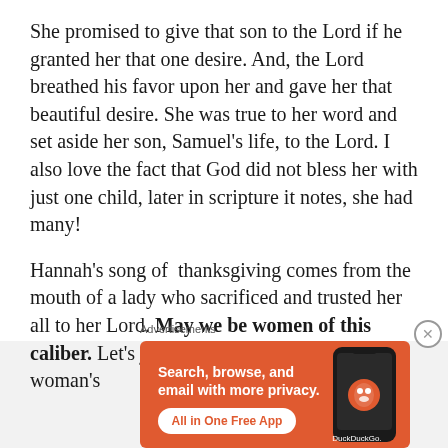She promised to give that son to the Lord if he granted her that one desire. And, the Lord breathed his favor upon her and gave her that beautiful desire. She was true to her word and set aside her son, Samuel's life, to the Lord. I also love the fact that God did not bless her with just one child, later in scripture it notes, she had many!
Hannah's song of  thanksgiving comes from the mouth of a lady who sacrificed and trusted her all to her Lord. May we be women of this caliber. Let's join together and pray this woman's
Advertisements
[Figure (infographic): DuckDuckGo advertisement banner with orange background showing 'Search, browse, and email with more privacy. All in One Free App' with a phone graphic and DuckDuckGo logo.]